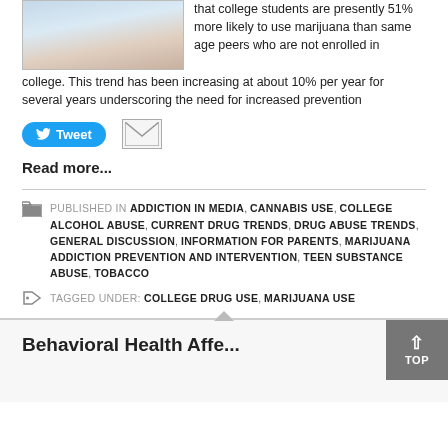[Figure (photo): Partial photo of a person, cropped at top, showing upper body in light blue clothing]
that college students are presently 51% more likely to use marijuana than same age peers who are not enrolled in college. This trend has been increasing at about 10% per year for several years underscoring the need for increased prevention
Tweet (social share button) and email icon
Read more...
PUBLISHED IN ADDICTION IN MEDIA, CANNABIS USE, COLLEGE ALCOHOL ABUSE, CURRENT DRUG TRENDS, DRUG ABUSE TRENDS, GENERAL DISCUSSION, INFORMATION FOR PARENTS, MARIJUANA ADDICTION PREVENTION AND INTERVENTION, TEEN SUBSTANCE ABUSE, TOBACCO
TAGGED UNDER: COLLEGE DRUG USE, MARIJUANA USE